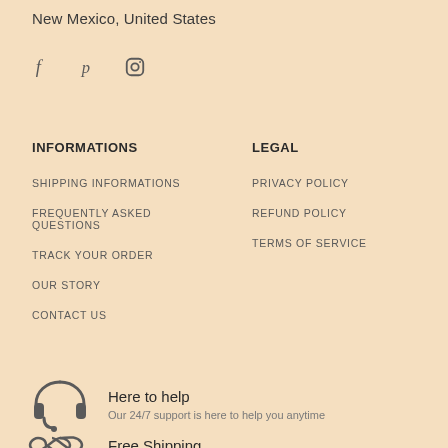New Mexico, United States
[Figure (illustration): Social media icons: Facebook (f), Pinterest (p), Instagram (circle with camera)]
INFORMATIONS
LEGAL
SHIPPING INFORMATIONS
PRIVACY POLICY
FREQUENTLY ASKED QUESTIONS
REFUND POLICY
TERMS OF SERVICE
TRACK YOUR ORDER
OUR STORY
CONTACT US
[Figure (illustration): Headset / customer support icon]
Here to help
Our 24/7 support is here to help you anytime
[Figure (illustration): Free shipping icon (infinity-like symbol)]
Free Shipping